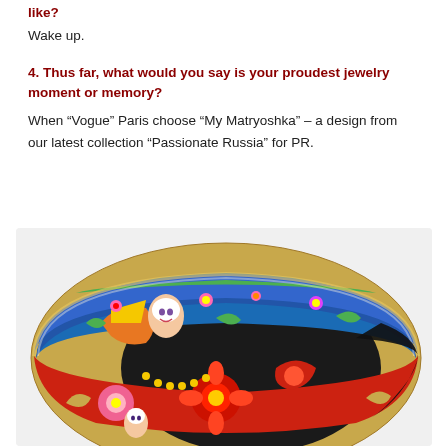like?
Wake up.
4. Thus far, what would you say is your proudest jewelry moment or memory?
When “Vogue” Paris choose “My Matryoshka” – a design from our latest collection “Passionate Russia” for PR.
[Figure (photo): A colorful decorative enamel bangle bracelet with gold trim, featuring Russian matryoshka dolls and floral folk art patterns in blue, red, orange, green, and yellow on a white background.]